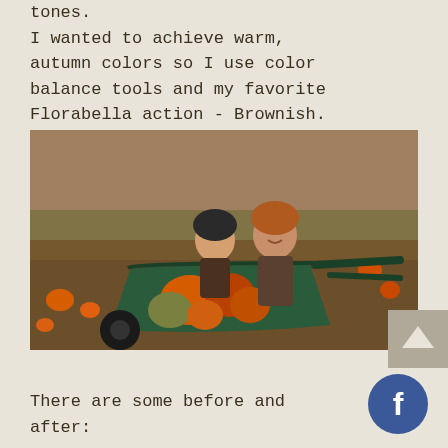tones.
I wanted to achieve warm, autumn colors so I use color balance tools and my favorite Florabella action - Brownish.
[Figure (photo): Two young children sitting in a green wheelbarrow filled with pumpkins in a pumpkin patch field. One child wears a dark knit cap and the other wears an orange/rust colored hat. Warm autumn tones.]
[Figure (other): Scroll-to-top arrow button on a grey square in lower right of photo area]
There are some before and after:
[Figure (logo): Facebook icon button - blue circle with white 'f' logo]